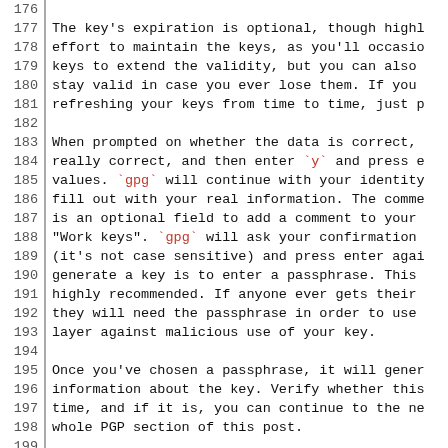176
177 The key's expiration is optional, though highl
178 effort to maintain the keys, as you'll occasio
179 keys to extend the validity, but you can also
180 stay valid in case you ever lose them. If you
181 refreshing your keys from time to time, just p
182
183 When prompted on whether the data is correct,
184 really correct, and then enter `y` and press e
185 values. `gpg` will continue with your identity
186 fill out with your real information. The comme
187 is an optional field to add a comment to your
188 "Work keys". `gpg` will ask your confirmation
189 (it's not case sensitive) and press enter agai
190 generate a key is to enter a passphrase. This
191 highly recommended. If anyone ever gets their
192 they will need the passphrase in order to use
193 layer against malicious use of your key.
194
195 Once you've chosen a passphrase, it will gener
196 information about the key. Verify whether this
197 time, and if it is, you can continue to the ne
198 whole PGP section of this post.
199
200 Take note of the line starting with `pub`. It
201 `rsa4096` key, followed by a `/`, and then the
202 throughout the rest of this post. For convenie